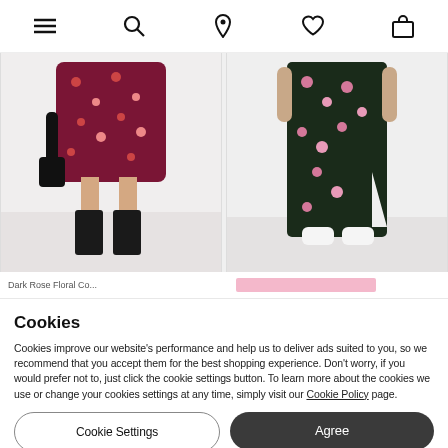Navigation bar with menu, search, location, wishlist, and bag icons
[Figure (photo): Two fashion product photos side by side: left shows a model wearing a dark floral mini dress with black boots, right shows a model wearing a dark floral maxi dress with white sneakers]
Cookies
Cookies improve our website's performance and help us to deliver ads suited to you, so we recommend that you accept them for the best shopping experience. Don't worry, if you would prefer not to, just click the cookie settings button. To learn more about the cookies we use or change your cookies settings at any time, simply visit our Cookie Policy page.
Cookie Settings
Agree